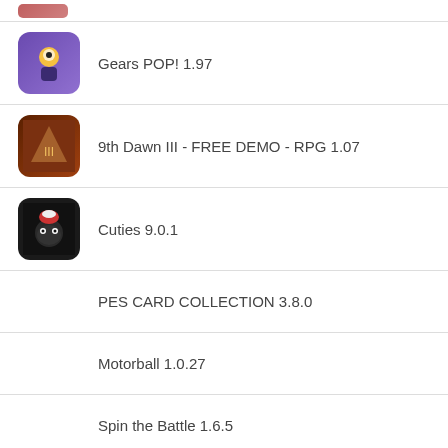(partial app icon row at top)
Gears POP! 1.97
9th Dawn III - FREE DEMO - RPG 1.07
Cuties 9.0.1
PES CARD COLLECTION 3.8.0
Motorball 1.0.27
Spin the Battle 1.6.5
Copyright© 2022 ApkModdl
DMCA |  Terms of Use |  Privacy Policy | Contact us | Sitemap